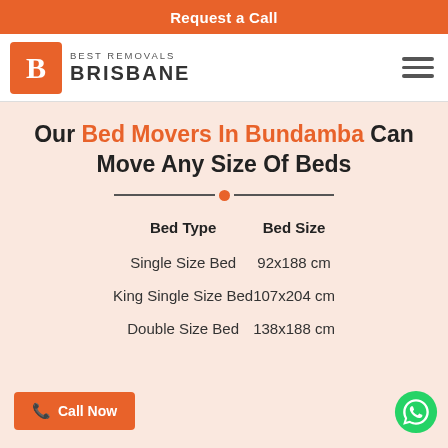Request a Call
[Figure (logo): Best Removals Brisbane logo with orange B icon and text]
Our Bed Movers In Bundamba Can Move Any Size Of Beds
| Bed Type | Bed Size |
| --- | --- |
| Single Size Bed | 92x188 cm |
| King Single Size Bed | 107x204 cm |
| Double Size Bed | 138x188 cm |